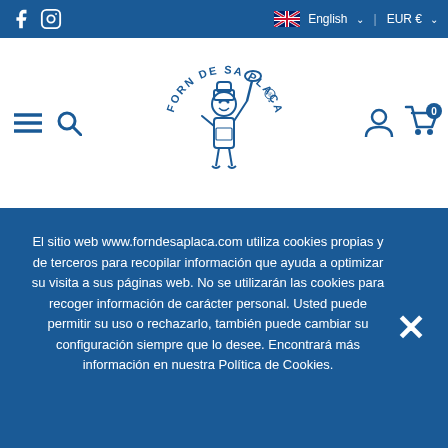f  |  English ∨  |  EUR € ∨
[Figure (logo): Forn de Sa Plaça logo — circular text reading 'FORN DE SA PLAÇA' with a cartoon baker character holding a paddle, in blue line art]
El sitio web www.forndesaplaca.com utiliza cookies propias y de terceros para recopilar información que ayuda a optimizar su visita a sus páginas web. No se utilizarán las cookies para recoger información de carácter personal. Usted puede permitir su uso o rechazarlo, también puede cambiar su configuración siempre que lo desee. Encontrará más información en nuestra Política de Cookies.